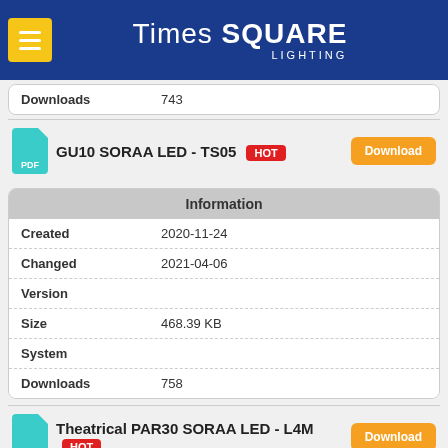[Figure (logo): Times Square Lighting logo on blue header with hamburger menu button]
|  |  |
| --- | --- |
| Downloads | 743 |
GU10 SORAA LED - TS05 HOT Download
| Information |  |
| --- | --- |
| Created | 2020-11-24 |
| Changed | 2021-04-06 |
| Version |  |
| Size | 468.39 KB |
| System |  |
| Downloads | 758 |
Theatrical PAR30 SORAA LED - L4M HOT Download
| Information |  |
| --- | --- |
| Created | 2020-11-24 |